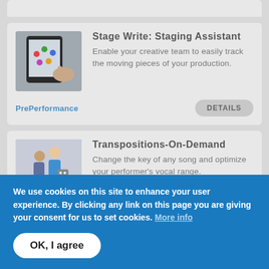[Figure (screenshot): Card showing Stage Write: Staging Assistant app listing with tablet image]
Stage Write: Staging Assistant
Enable your creative team to easily track the moving pieces of your production.
PrePerformance
[Figure (screenshot): Card showing Transpositions-On-Demand app listing with people at piano image]
Transpositions-On-Demand
Change the key of any song and optimize your performer's vocal range.
PrePerformance
We use cookies on this site to enhance your user experience. By clicking any link on this page you are giving your consent for us to set cookies. More info